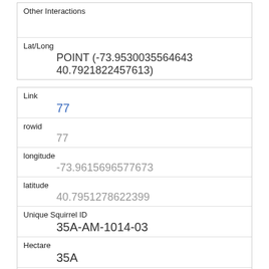| Other Interactions |  |
| Lat/Long | POINT (-73.9530035564643 40.7921822457613) |
| Link | 77 |
| rowid | 77 |
| longitude | -73.9615696577673 |
| latitude | 40.7951278622399 |
| Unique Squirrel ID | 35A-AM-1014-03 |
| Hectare | 35A |
| Shift | AM |
| Date | 10142018 |